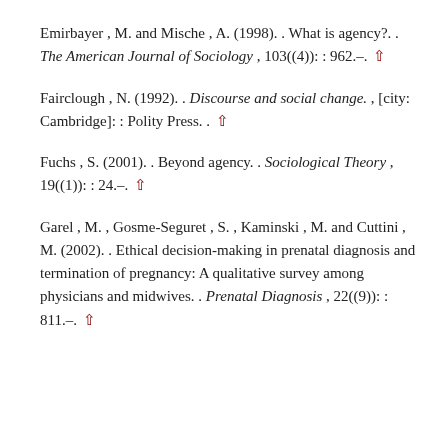Emirbayer , M. and Mische , A. (1998). . What is agency?. . The American Journal of Sociology , 103((4)): : 962.–. ↑
Fairclough , N. (1992). . Discourse and social change. , [city: Cambridge]: : Polity Press. . ↑
Fuchs , S. (2001). . Beyond agency. . Sociological Theory , 19((1)): : 24.–. ↑
Garel , M. , Gosme-Seguret , S. , Kaminski , M. and Cuttini , M. (2002). . Ethical decision-making in prenatal diagnosis and termination of pregnancy: A qualitative survey among physicians and midwives. . Prenatal Diagnosis , 22((9)): : 811.–. ↑